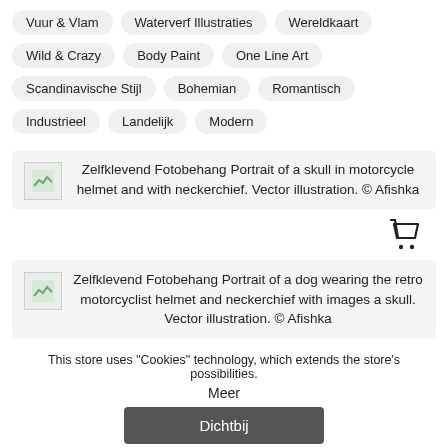Vuur & Vlam
Waterverf Illustraties
Wereldkaart
Wild & Crazy
Body Paint
One Line Art
Scandinavische Stijl
Bohemian
Romantisch
Industrieel
Landelijk
Modern
[Figure (screenshot): Product listing: Zelfklevend Fotobehang Portrait of a skull in motorcycle helmet and with neckerchief. Vector illustration. © Afishka]
[Figure (screenshot): Product listing: Zelfklevend Fotobehang Portrait of a dog wearing the retro motorcyclist helmet and neckerchief with images a skull. Vector illustration. © Afishka]
[Figure (screenshot): Partial product listing: Zelfklevend Fotobehang Portrait of a dog wearing the...]
This store uses "Cookies" technology, which extends the store's possibilities.
Meer
Dichtbij